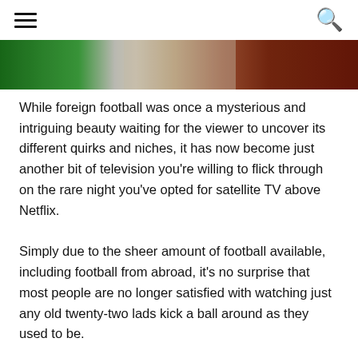☰  🔍
[Figure (photo): Partial photo of football players or Italian football imagery with green, white and red colors (Italian flag colors), heavily cropped at the top of the page.]
While foreign football was once a mysterious and intriguing beauty waiting for the viewer to uncover its different quirks and niches, it has now become just another bit of television you're willing to flick through on the rare night you've opted for satellite TV above Netflix.
Simply due to the sheer amount of football available, including football from abroad, it's no surprise that most people are no longer satisfied with watching just any old twenty-two lads kick a ball around as they used to be.
If it's a Saturday and you're staying in, you don't have to wait until half ten for Match of the Day to start. Watch the lunch-